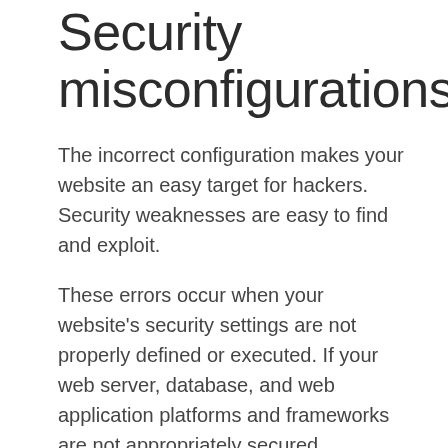Security misconfigurations
The incorrect configuration makes your website an easy target for hackers. Security weaknesses are easy to find and exploit.
These errors occur when your website's security settings are not properly defined or executed. If your web server, database, and web application platforms and frameworks are not appropriately secured, attackers can take control of your website.
Control and avoid website vulnerabilities.
You can try to avoid and manage website